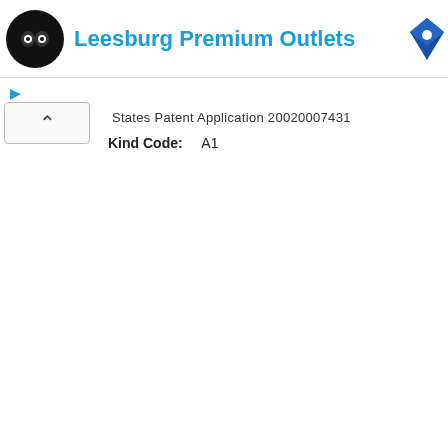[Figure (logo): Leesburg Premium Outlets advertisement banner with circular black logo icon on left and blue brand text, plus a blue location pin icon on the right]
States Patent Application 20020007431
Kind Code:    A1